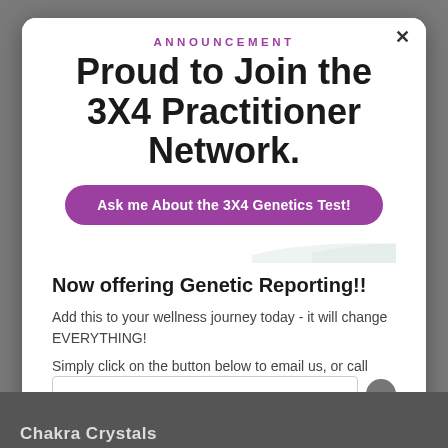ANNOUNCEMENT
Proud to Join the 3X4 Practitioner Network.
Ask me About the 3X4 Genetics Test!
Now offering Genetic Reporting!!
Add this to your wellness journey today - it will change EVERYTHING!
Simply click on the button below to email us, or call (970) 578 0222.
Chakra Crystals